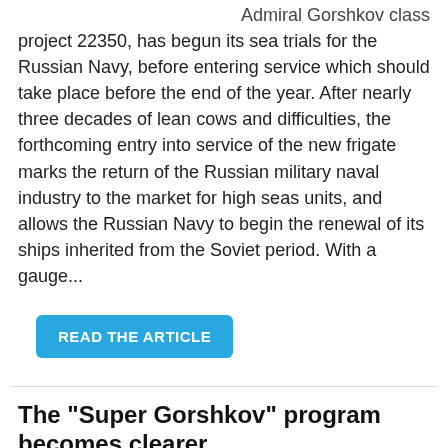Admiral Gorshkov class project 22350, has begun its sea trials for the Russian Navy, before entering service which should take place before the end of the year. After nearly three decades of lean cows and difficulties, the forthcoming entry into service of the new frigate marks the return of the Russian military naval industry to the market for high seas units, and allows the Russian Navy to begin the renewal of its ships inherited from the Soviet period. With a gauge...
READ THE ARTICLE
The "Super Gorshkov" program becomes clearer
May 11th
[Figure (photo): Photo of a naval warship (frigate), grey vessel at sea with sky and clouds in background]
According to an article by the TASS agency, the future "heavy" frigates of the 22350M...